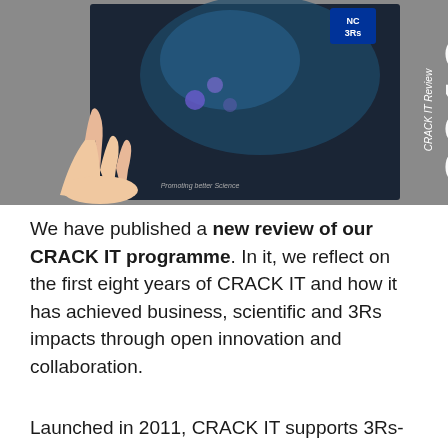[Figure (photo): A hand holding a dark-coloured booklet titled 'CRACK IT Review 2019' with the NC3Rs logo visible in the upper corner. The cover shows a technology/science themed image.]
We have published a new review of our CRACK IT programme. In it, we reflect on the first eight years of CRACK IT and how it has achieved business, scientific and 3Rs impacts through open innovation and collaboration.
Launched in 2011, CRACK IT supports 3Rs-focused